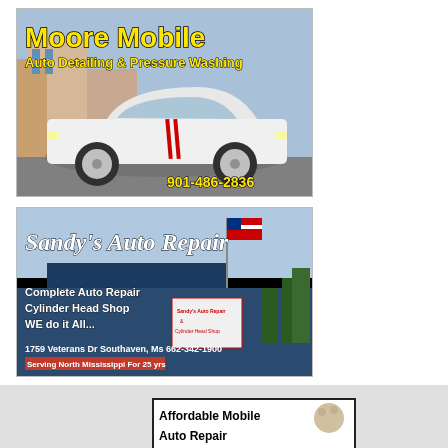[Figure (photo): Moore Mobile Auto Detailing & Pressure Washing ad with white Dodge Challenger muscle car, yellow text on photo background. Phone: 901-486-2836]
[Figure (photo): Sandy's Auto Repair ad with shop building and American flag, dark blue background. Complete Auto Repair, Cylinder Head Shop, WE do it All... 1759 Veterans Dr, Southaven, Ms, 662-342-1900, Serving North Mississippi For 25 yrs]
[Figure (photo): Partial ad for Affordable Mobile Auto Repair at bottom of page, cut off]